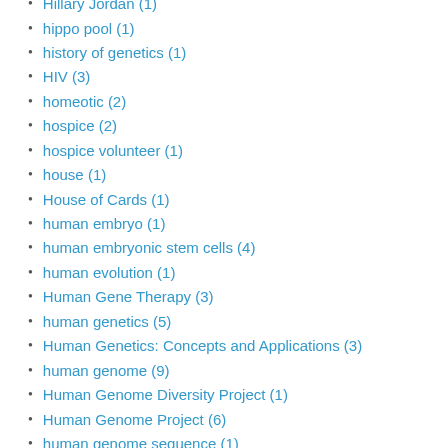Hillary Jordan (1)
hippo pool (1)
history of genetics (1)
HIV (3)
homeotic (2)
hospice (2)
hospice volunteer (1)
house (1)
House of Cards (1)
human embryo (1)
human embryonic stem cells (4)
human evolution (1)
Human Gene Therapy (3)
human genetics (5)
Human Genetics: Concepts and Applications (3)
human genome (9)
Human Genome Diversity Project (1)
Human Genome Project (6)
human genome sequence (1)
human growth hormone (1)
Human Microbiome Project (1)
Huntington disease (2)
Huntington's disease (8)
Huntington's Disease Society of America (1)
Huntington's disease (1)
hypertrichosis (1)
Hyunjoon Kong (1)